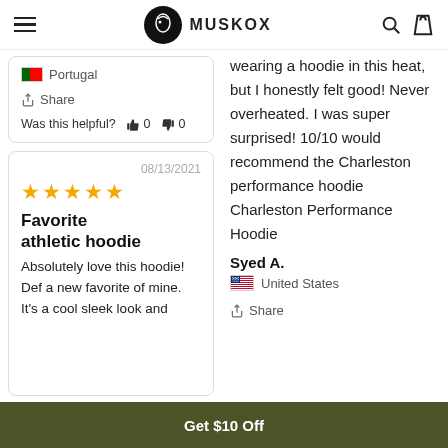MuskOx
Portugal
Share
Was this helpful? 👍 0 👎 0
08/13/2021
★★★★★
Favorite athletic hoodie
Absolutely love this hoodie! Def a new favorite of mine. It's a cool sleek look and
wearing a hoodie in this heat, but I honestly felt good! Never overheated. I was super surprised! 10/10 would recommend the Charleston performance hoodie Charleston Performance Hoodie
Syed A.
United States
Share
Get $10 Off